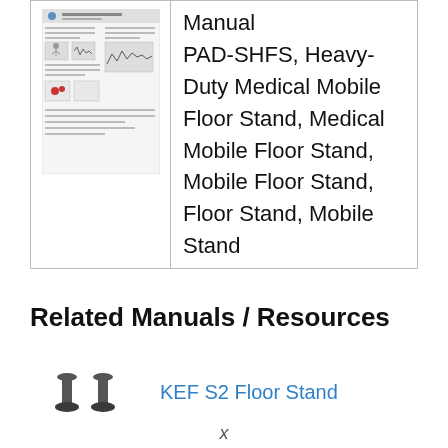[Figure (illustration): Thumbnail image of a document page showing diagrams and text]
Manual PAD-SHFS, Heavy-Duty Medical Mobile Floor Stand, Medical Mobile Floor Stand, Mobile Floor Stand, Floor Stand, Mobile Stand
Related Manuals / Resources
[Figure (photo): Small thumbnail image of two black speaker stand posts (KEF S2 Floor Stand)]
KEF S2 Floor Stand